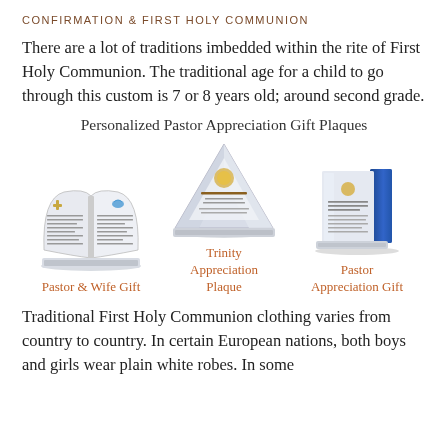CONFIRMATION & FIRST HOLY COMMUNION
There are a lot of traditions imbedded within the rite of First Holy Communion. The traditional age for a child to go through this custom is 7 or 8 years old; around second grade.
Personalized Pastor Appreciation Gift Plaques
[Figure (photo): Three crystal/glass award plaques: an open-book shaped plaque (Pastor & Wife Gift), a pyramid/triangle shaped plaque (Trinity Appreciation Plaque), and a tall rectangular plaque with blue accent (Pastor Appreciation Gift)]
Pastor & Wife Gift
Trinity Appreciation Plaque
Pastor Appreciation Gift
Traditional First Holy Communion clothing varies from country to country. In certain European nations, both boys and girls wear plain white robes. In some